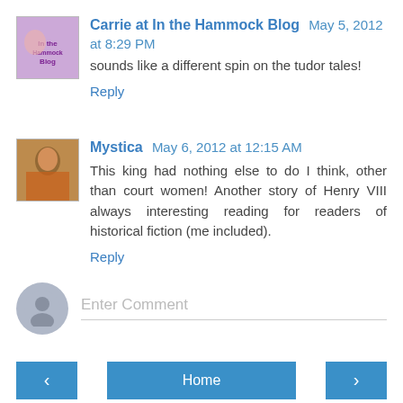[Figure (photo): Avatar thumbnail for 'In the Hammock Blog' — purple/pink blog logo image]
Carrie at In the Hammock Blog May 5, 2012 at 8:29 PM
sounds like a different spin on the tudor tales!
Reply
[Figure (photo): Avatar thumbnail for Mystica — person in colorful sari]
Mystica May 6, 2012 at 12:15 AM
This king had nothing else to do I think, other than court women! Another story of Henry VIII always interesting reading for readers of historical fiction (me included).
Reply
[Figure (illustration): Generic user silhouette avatar icon (gray circle with person outline)]
Enter Comment
‹
Home
›
View web version